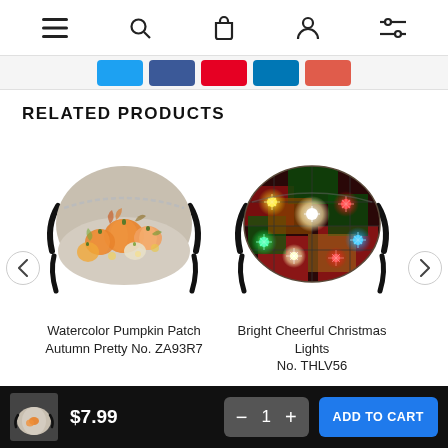Navigation bar with menu, search, cart, account, and filter icons
[Figure (screenshot): Social share buttons row: Twitter (blue), Facebook (dark blue), Pinterest (red), LinkedIn (blue), Email (coral/red)]
RELATED PRODUCTS
[Figure (photo): Face mask with watercolor pumpkin patch autumn design on beige background with black ear straps]
[Figure (photo): Face mask with bright colorful Christmas lights photo print on dark background with black ear straps]
Watercolor Pumpkin Patch Autumn Pretty No. ZA93R7
Bright Cheerful Christmas Lights No. THLV56
$7.99  −  1  +  ADD TO CART